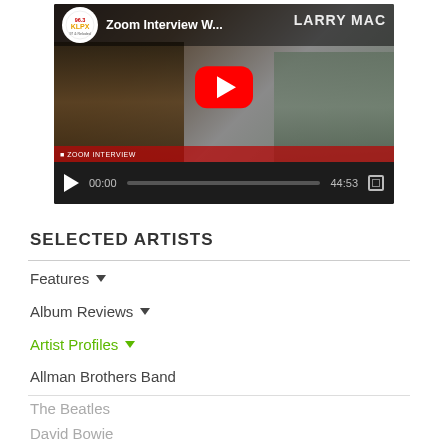[Figure (screenshot): YouTube video thumbnail showing a Zoom interview. Radio station logo (96.3 KLPX) in top left, title 'Zoom Interview W...' visible, two people visible (one on left in dark shirt, one on right), YouTube red play button overlay in center, video controls bar at bottom showing 00:00 / 44:53 with play button, progress bar, and fullscreen icon.]
SELECTED ARTISTS
Features
Album Reviews
Artist Profiles
Allman Brothers Band
The Beatles
David Bowie